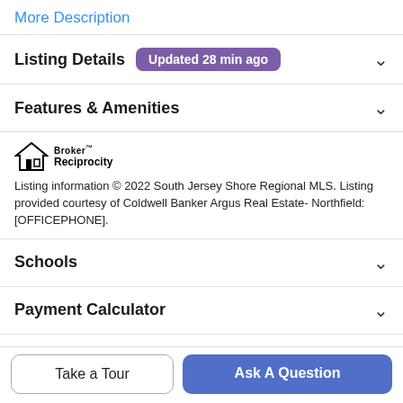More Description
Listing Details
Updated 28 min ago
Features & Amenities
[Figure (logo): Broker Reciprocity logo with house icon]
Listing information © 2022 South Jersey Shore Regional MLS. Listing provided courtesy of Coldwell Banker Argus Real Estate-Northfield: [OFFICEPHONE].
Schools
Payment Calculator
Take a Tour
Ask A Question